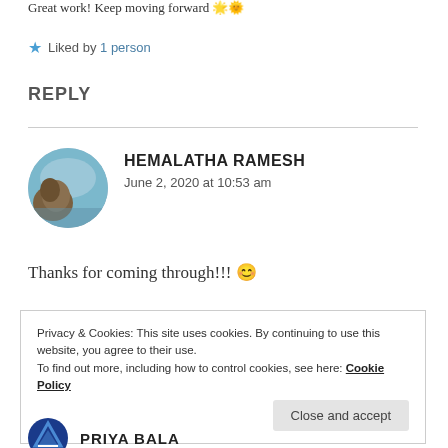Great work! Keep moving forward 🌟🌞
★ Liked by 1 person
REPLY
HEMALATHA RAMESH
June 2, 2020 at 10:53 am
Thanks for coming through!!! 😊
Privacy & Cookies: This site uses cookies. By continuing to use this website, you agree to their use.
To find out more, including how to control cookies, see here: Cookie Policy
Close and accept
PRIYA BALA